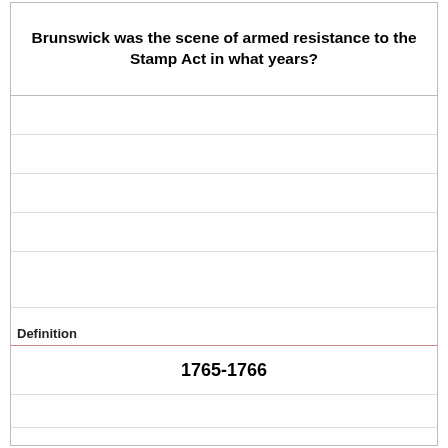Brunswick was the scene of armed resistance to the Stamp Act in what years?
Definition
1765-1766
Term